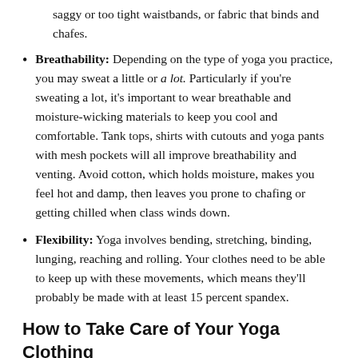saggy or too tight waistbands, or fabric that binds and chafes.
Breathability: Depending on the type of yoga you practice, you may sweat a little or a lot. Particularly if you're sweating a lot, it's important to wear breathable and moisture-wicking materials to keep you cool and comfortable. Tank tops, shirts with cutouts and yoga pants with mesh pockets will all improve breathability and venting. Avoid cotton, which holds moisture, makes you feel hot and damp, then leaves you prone to chafing or getting chilled when class winds down.
Flexibility: Yoga involves bending, stretching, binding, lunging, reaching and rolling. Your clothes need to be able to keep up with these movements, which means they'll probably be made with at least 15 percent spandex.
How to Take Care of Your Yoga Clothing